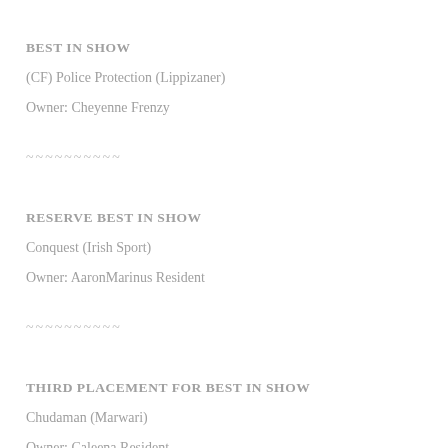BEST IN SHOW
(CF) Police Protection (Lippizaner)
Owner: Cheyenne Frenzy
~~~~~~~~~~
RESERVE BEST IN SHOW
Conquest (Irish Sport)
Owner: AaronMarinus Resident
~~~~~~~~~~
THIRD PLACEMENT FOR BEST IN SHOW
Chudaman (Marwari)
Owner: Caleena Resident